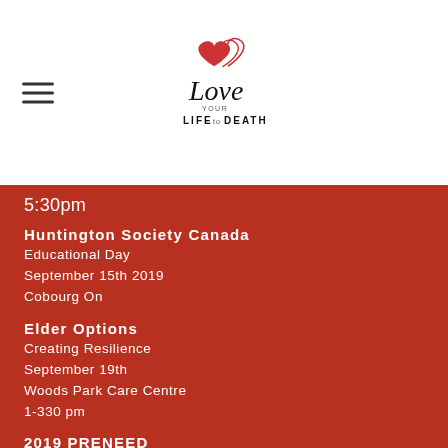[Figure (logo): Love Your Life to Death logo with two hearts and script text]
5:30pm
Huntington Society Canada
Educational Day
September 15th 2019
Cobourg On
Elder Options
Creating Resilience
September 19th
Woods Park Care Centre
1-330 pm
2019 PRENEED Conference
September 17th
Presentation 7pm